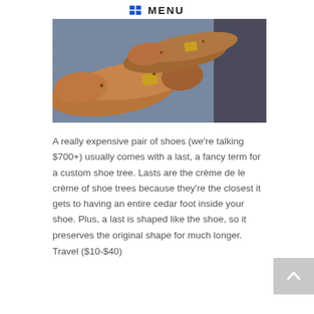MENU
[Figure (photo): Two wooden shoe lasts (custom shoe trees) lying on a blue textured surface, photographed from above at an angle. The lasts are brown/tan cedar wood with a metal joint in the middle.]
A really expensive pair of shoes (we're talking $700+) usually comes with a last, a fancy term for a custom shoe tree. Lasts are the crème de le crème of shoe trees because they're the closest it gets to having an entire cedar foot inside your shoe. Plus, a last is shaped like the shoe, so it preserves the original shape for much longer.
Travel ($10-$40)